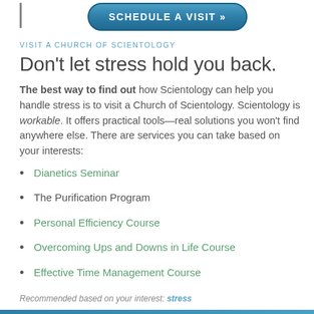[Figure (other): Blue rounded button with text SCHEDULE A VISIT »]
VISIT A CHURCH OF SCIENTOLOGY
Don't let stress hold you back.
The best way to find out how Scientology can help you handle stress is to visit a Church of Scientology. Scientology is workable. It offers practical tools—real solutions you won't find anywhere else. There are services you can take based on your interests:
Dianetics Seminar
The Purification Program
Personal Efficiency Course
Overcoming Ups and Downs in Life Course
Effective Time Management Course
Recommended based on your interest: stress